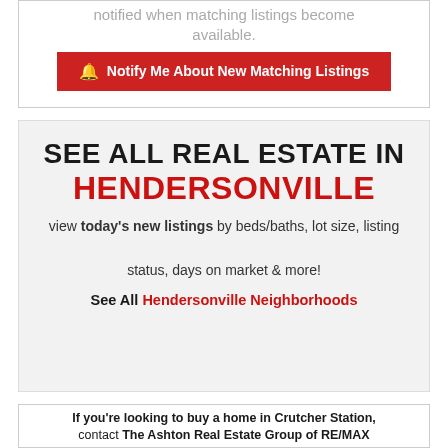notified when matching listings become available.
Notify Me About New Matching Listings
SEE ALL REAL ESTATE IN HENDERSONVILLE
view today's new listings by beds/baths, lot size, listing status, days on market & more!
See All Hendersonville Neighborhoods
If you're looking to buy a home in Crutcher Station, contact The Ashton Real Estate Group of RE/MAX